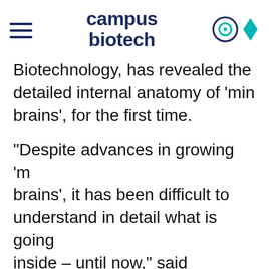campus biotech
Biotechnology, has revealed the detailed internal anatomy of 'mini brains', for the first time.
“Despite advances in growing ‘mini brains’, it has been difficult to understand in detail what is going inside – until now,” said Professor Adrien Roux from the Tissue Engineering Laboratory, HEPIA, s...